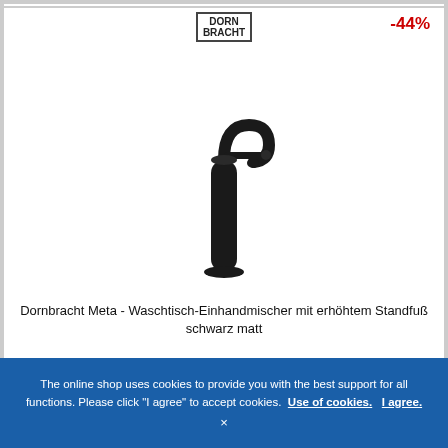[Figure (logo): Dornbracht brand logo — two lines reading DORN / BRACHT in a rectangular border]
-44%
[Figure (photo): Black matte Dornbracht Meta single-lever basin mixer with raised base, shown on white background]
Dornbracht Meta - Waschtisch-Einhandmischer mit erhöhtem Standfuß schwarz matt
HK$ 6,297.09*
HK$ 3,469.56
The online shop uses cookies to provide you with the best support for all functions. Please click "I agree" to accept cookies. Use of cookies.  I agree.
×